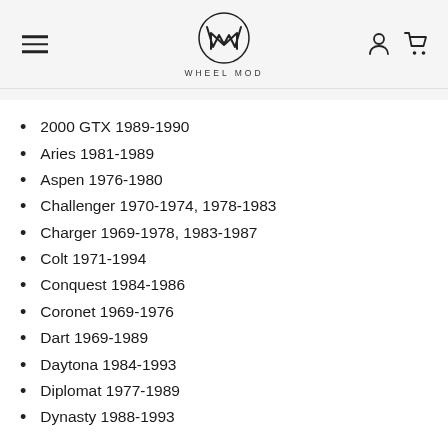WHEEL MOD
2000 GTX 1989-1990
Aries 1981-1989
Aspen 1976-1980
Challenger 1970-1974, 1978-1983
Charger 1969-1978, 1983-1987
Colt 1971-1994
Conquest 1984-1986
Coronet 1969-1976
Dart 1969-1989
Daytona 1984-1993
Diplomat 1977-1989
Dynasty 1988-1993